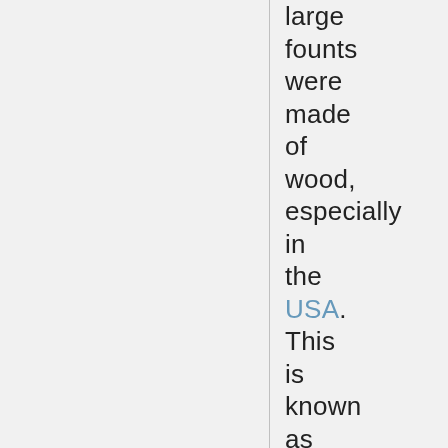large founts were made of wood, especially in the USA. This is known as wood type